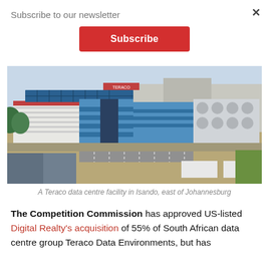Subscribe to our newsletter
Subscribe
[Figure (photo): Aerial view of a Teraco data centre facility in Isando, east of Johannesburg, showing large industrial buildings with blue cladding, solar panels on rooftops, cooling equipment, and surrounding urban area.]
A Teraco data centre facility in Isando, east of Johannesburg
The Competition Commission has approved US-listed Digital Realty's acquisition of 55% of South African data centre group Teraco Data Environments, but has